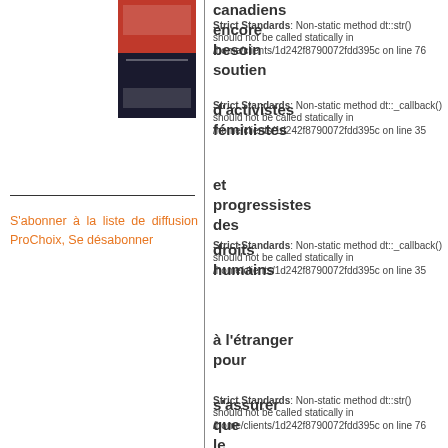[Figure (photo): Book cover image with red and dark tones, appears to be a book about Canadian issues]
S'abonner à la liste de diffusion ProChoix, Se désabonner
canadiens
encore
besoin
soutien
d'activistes
féministes
et
progressistes
des
droits
humains
à l'étranger
pour
s'assurer
que
le
gouvernement
canadie
n'A©tende
pas
cette
Strict Standards: Non-static method dt::str() should not be called statically in /home/clients/1d242f8790072fdd395c on line 76
Strict Standards: Non-static method dt::_callback() should not be called statically in /home/clients/1d242f8790072fdd395c on line 35
Strict Standards: Non-static method dt::_callback() should not be called statically in /home/clients/1d242f8790072fdd395c on line 35
Strict Standards: Non-static method dt::str() should not be called statically in /home/clients/1d242f8790072fdd395c on line 76
Strict Standards: Non-static method dt::_callback() should not be called statically in